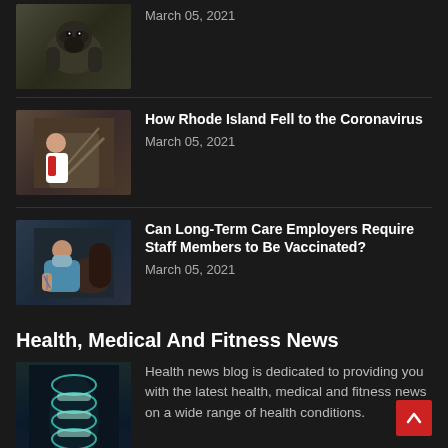[Figure (photo): Gorilla photo thumbnail (partially visible at top)]
March 05, 2021
[Figure (photo): Doctor/woman in white coat on staircase]
How Rhode Island Fell to the Coronavirus
March 05, 2021
[Figure (photo): Person in mask seated in dark chair]
Can Long-Term Care Employers Require Staff Members to Be Vaccinated?
March 05, 2021
Health, Medical And Fitness News
[Figure (photo): Glowing spine/vertebrae medical illustration]
Health news blog is dedicated to providing you with the latest health, medical and fitness news on a wide range of health conditions.

Any health advice provided in the news content is meant to provide readers with potentially helpful health news and general information and not meant as a formal health advice. This blog is published by Dr Vivienne Balonwu …